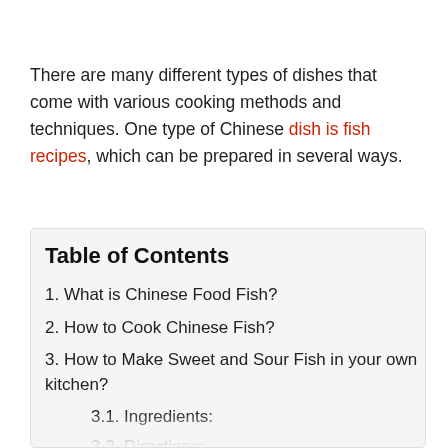There are many different types of dishes that come with various cooking methods and techniques. One type of Chinese dish is fish recipes, which can be prepared in several ways.
Table of Contents
1. What is Chinese Food Fish?
2. How to Cook Chinese Fish?
3. How to Make Sweet and Sour Fish in your own kitchen?
3.1. Ingredients:
3.2. Directions:
4. Nutrition Facts Of Chinese Food Fish Recipes